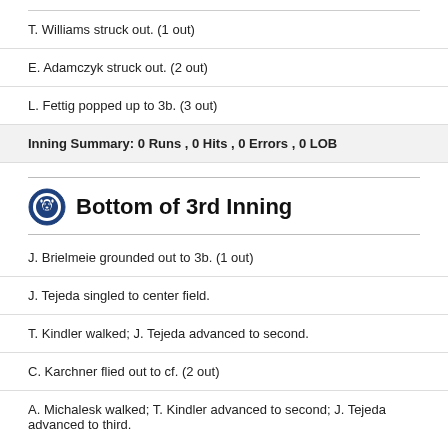T. Williams struck out. (1 out)
E. Adamczyk struck out. (2 out)
L. Fettig popped up to 3b. (3 out)
Inning Summary: 0 Runs , 0 Hits , 0 Errors , 0 LOB
Bottom of 3rd Inning
J. Brielmeie grounded out to 3b. (1 out)
J. Tejeda singled to center field.
T. Kindler walked; J. Tejeda advanced to second.
C. Karchner flied out to cf. (2 out)
A. Michalesk walked; T. Kindler advanced to second; J. Tejeda advanced to third.